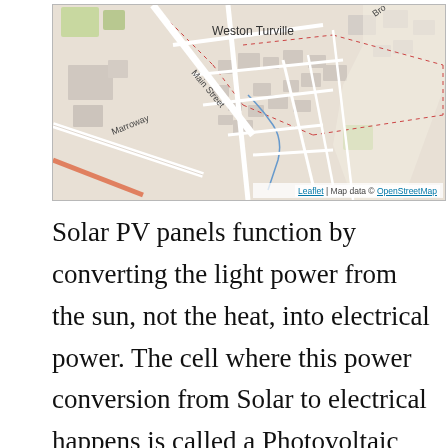[Figure (map): OpenStreetMap tile showing Weston Turville village with streets including Main Street, Marroway, and Bro[ok]. Roads shown as white/grey lines, residential areas in light grey, with dotted red boundaries. Attribution: Leaflet | Map data © OpenStreetMap.]
Solar PV panels function by converting the light power from the sun, not the heat, into electrical power. The cell where this power conversion from Solar to electrical happens is called a Photovoltaic cell. Every photovoltaic panel has practically 60 photovoltaic cells